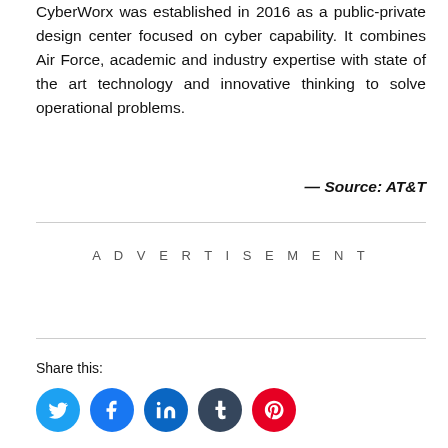CyberWorx was established in 2016 as a public-private design center focused on cyber capability. It combines Air Force, academic and industry expertise with state of the art technology and innovative thinking to solve operational problems.
— Source: AT&T
ADVERTISEMENT
Share this: